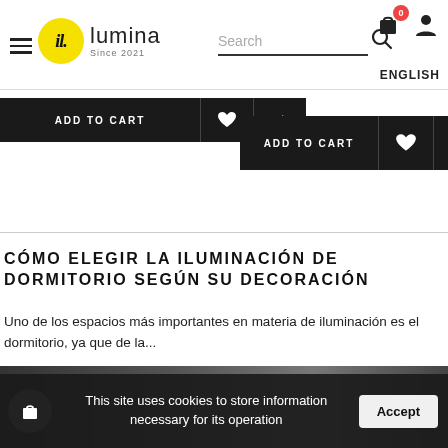il.lumina Since 2021 — Search — ENGLISH
[Figure (screenshot): Two ADD TO CART button bars with heart and share icons on dark background]
CÓMO ELEGIR LA ILUMINACIÓN DE DORMITORIO SEGÚN SU DECORACIÓN
Uno de los espacios más importantes en materia de iluminación es el dormitorio, ya que de la...
[Figure (photo): Dark photo strip at the bottom of the page]
This site uses cookies to store information necessary for its operation
Accept